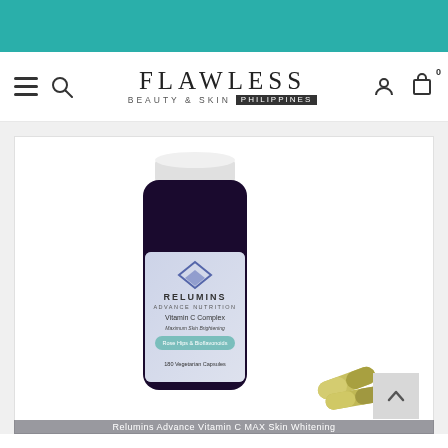[Figure (logo): Flawless Beauty & Skin Philippines logo with hamburger menu, search icon, user icon and cart icon]
[Figure (photo): Relumins Advance Nutrition Vitamin C Complex Maximum Skin Brightening Rose Hips & Bioflavonoids 180 Vegetarian Capsules dark bottle with white cap, with two yellow-green capsules beside it]
Relumins Advance Vitamin C MAX Skin Whitening